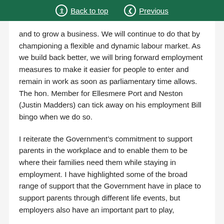Back to top | Previous
and to grow a business. We will continue to do that by championing a flexible and dynamic labour market. As we build back better, we will bring forward employment measures to make it easier for people to enter and remain in work as soon as parliamentary time allows. The hon. Member for Ellesmere Port and Neston (Justin Madders) can tick away on his employment Bill bingo when we do so.
I reiterate the Government’s commitment to support parents in the workplace and to enable them to be where their families need them while staying in employment. I have highlighted some of the broad range of support that the Government have in place to support parents through different life events, but employers also have an important part to play,